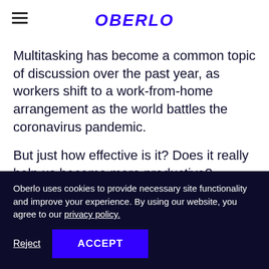OBERLO
Multitasking has become a common topic of discussion over the past year, as workers shift to a work-from-home arrangement as the world battles the coronavirus pandemic.
But just how effective is it? Does it really help us become more productive?
Oberlo uses cookies to provide necessary site functionality and improve your experience. By using our website, you agree to our privacy policy.
Reject  ACCEPT